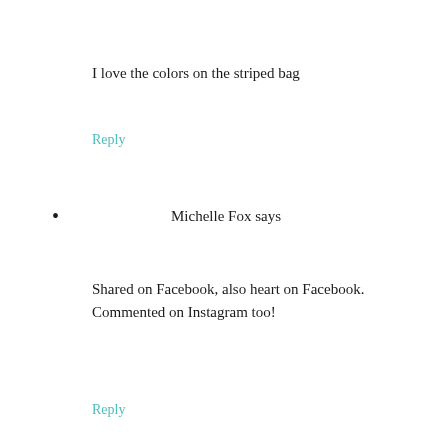I love the colors on the striped bag
Reply
Michelle Fox says
Shared on Facebook, also heart on Facebook. Commented on Instagram too!
Reply